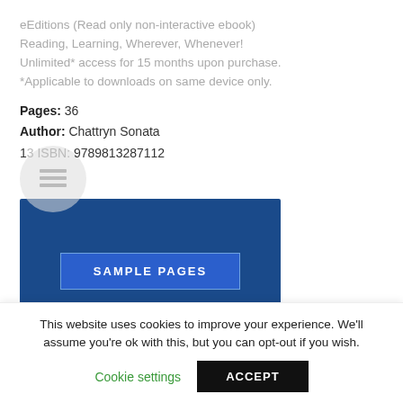eEditions (Read only non-interactive ebook)
Reading, Learning, Wherever, Whenever!
Unlimited* access for 15 months upon purchase.
*Applicable to downloads on same device only.
Pages: 36
Author: Chattryn Sonata
13 ISBN: 9789813287112
[Figure (screenshot): Dark blue banner with a 'SAMPLE PAGES' button in a lighter blue rectangle with thin border, centered on the banner.]
This website uses cookies to improve your experience. We'll assume you're ok with this, but you can opt-out if you wish.
Cookie settings    ACCEPT